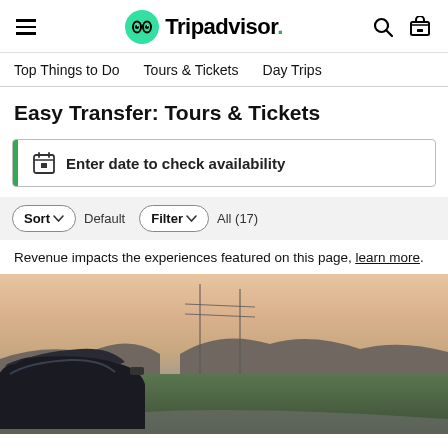Tripadvisor navigation header with hamburger menu, Tripadvisor logo, search and cart icons
Top Things to Do  Tours & Tickets  Day Trips
Easy Transfer: Tours & Tickets
Enter date to check availability
Sort  Default  Filter  All (17)
Revenue impacts the experiences featured on this page, learn more.
[Figure (photo): Sunset landscape photo showing a dark car in the foreground, green fields, mountains and a pink/orange sky in the background]